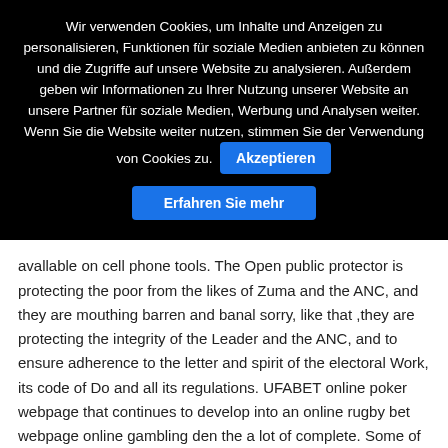Wir verwenden Cookies, um Inhalte und Anzeigen zu personalisieren, Funktionen für soziale Medien anbieten zu können und die Zugriffe auf unsere Website zu analysieren. Außerdem geben wir Informationen zu Ihrer Nutzung unserer Website an unsere Partner für soziale Medien, Werbung und Analysen weiter. Wenn Sie die Website weiter nutzen, stimmen Sie der Verwendung von Cookies zu.
Akzeptieren
Erfahren Sie mehr
avallable on cell phone tools. The Open public protector is protecting the poor from the likes of Zuma and the ANC, and they are mouthing barren and banal sorry, like that ,they are protecting the integrity of the Leader and the ANC, and to ensure adherence to the letter and spirit of the electoral Work, its code of Do and all its regulations. UFABET online poker webpage that continues to develop into an online rugby bet webpage online gambling den the a lot of complete. Some of the free of cost spots and other choices of gambling den activities are only avallable to individuals from certain international locations.
Probabilities are really that often performing a good number of